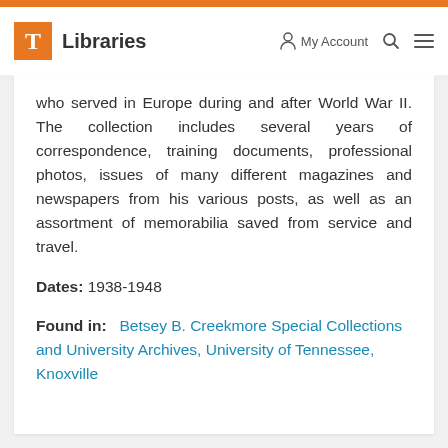T Libraries | My Account | Search | Menu
who served in Europe during and after World War II. The collection includes several years of correspondence, training documents, professional photos, issues of many different magazines and newspapers from his various posts, as well as an assortment of memorabilia saved from service and travel.
Dates: 1938-1948
Found in: Betsey B. Creekmore Special Collections and University Archives, University of Tennessee, Knoxville